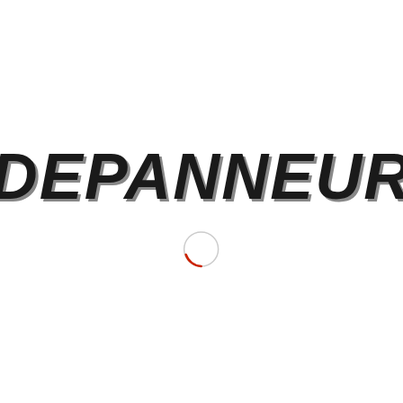[Figure (logo): Depanneur logo: bold italic black uppercase text 'DEPANNEUR' with white outline/shadow effect, and a small circle below with a red partial arc accent (loading spinner or decorative circle).]